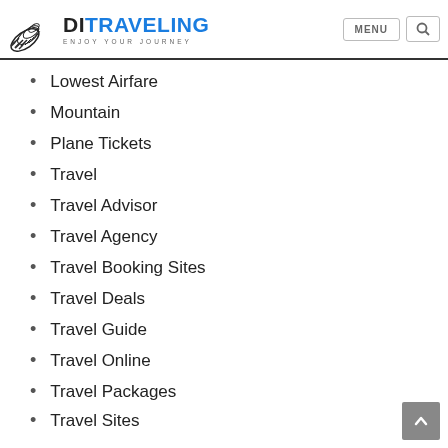DI TRAVELING — ENJOY YOUR JOURNEY
Lowest Airfare
Mountain
Plane Tickets
Travel
Travel Advisor
Travel Agency
Travel Booking Sites
Travel Deals
Travel Guide
Travel Online
Travel Packages
Travel Sites